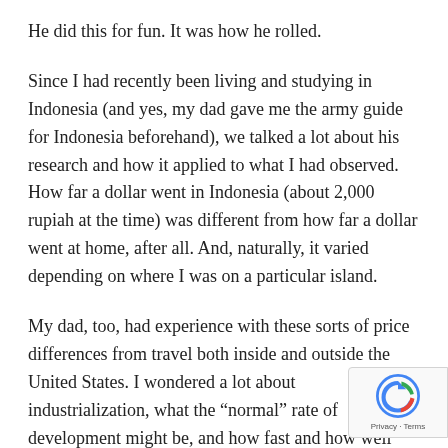He did this for fun. It was how he rolled.
Since I had recently been living and studying in Indonesia (and yes, my dad gave me the army guide for Indonesia beforehand), we talked a lot about his research and how it applied to what I had observed. How far a dollar went in Indonesia (about 2,000 rupiah at the time) was different from how far a dollar went at home, after all. And, naturally, it varied depending on where I was on a particular island.
My dad, too, had experience with these sorts of price differences from travel both inside and outside the United States. I wondered a lot about industrialization, what the “normal” rate of development might be, and how fast and how well developing nations and regions could and would develop.
[Figure (logo): reCAPTCHA badge with Privacy and Terms text]